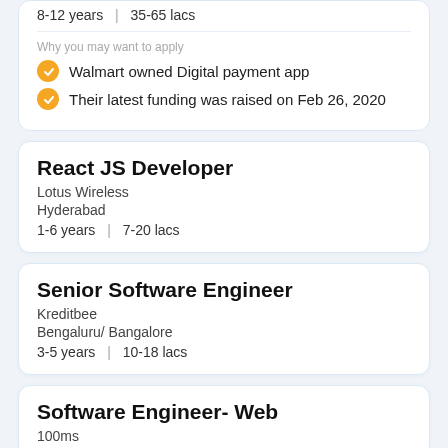8-12 years | 35-65 lacs
Why you may want to apply
Walmart owned Digital payment app
Their latest funding was raised on Feb 26, 2020
React JS Developer
Lotus Wireless
Hyderabad
1-6 years | 7-20 lacs
Senior Software Engineer
Kreditbee
Bengaluru/ Bangalore
3-5 years | 10-18 lacs
Software Engineer- Web
100ms